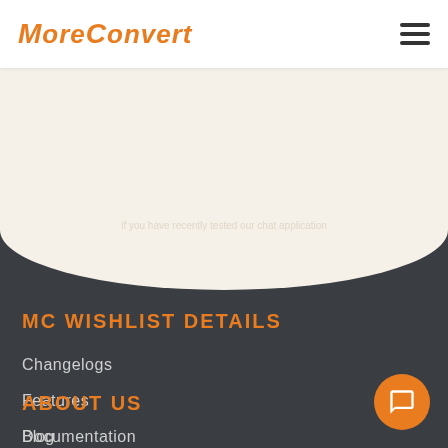[Figure (logo): MoreConvert logo in orange italic bold text with stylized C]
[Figure (other): Hamburger menu icon with three horizontal bars]
MC WISHLIST DETAILS
Changelogs
Features
Documentation
ABOUT US
Blog